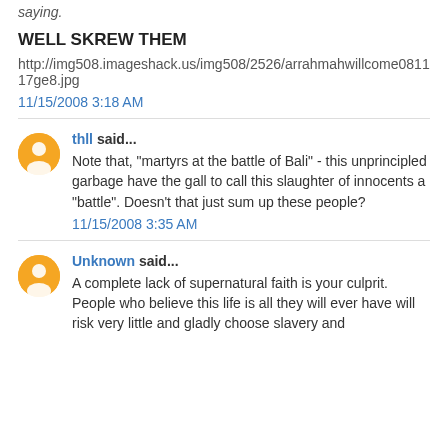saying.
WELL SKREW THEM
http://img508.imageshack.us/img508/2526/arrahmahwillcome081117ge8.jpg
11/15/2008 3:18 AM
thll said...
Note that, "martyrs at the battle of Bali" - this unprincipled garbage have the gall to call this slaughter of innocents a "battle". Doesn't that just sum up these people?
11/15/2008 3:35 AM
Unknown said...
A complete lack of supernatural faith is your culprit. People who believe this life is all they will ever have will risk very little and gladly choose slavery and